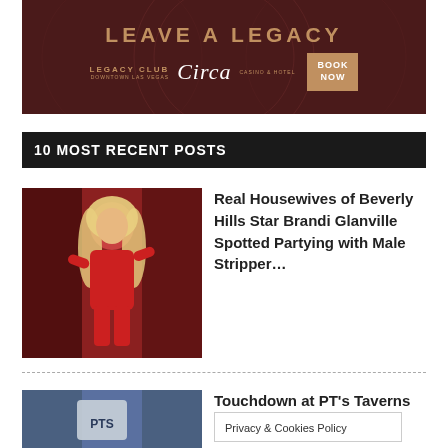[Figure (illustration): Advertisement banner for Legacy Club at Circa casino. Dark maroon/brown background with decorative circular patterns. Text reads LEAVE A LEGACY / LEGACY CLUB / Circa / BOOK NOW]
10 MOST RECENT POSTS
[Figure (photo): Woman with long blonde hair wearing a red outfit, posing at what appears to be an event]
Real Housewives of Beverly Hills Star Brandi Glanville Spotted Partying with Male Stripper…
[Figure (photo): Partial image showing what appears to be a PTS cup/glass]
Touchdown at PT's Taverns This
Privacy & Cookies Policy